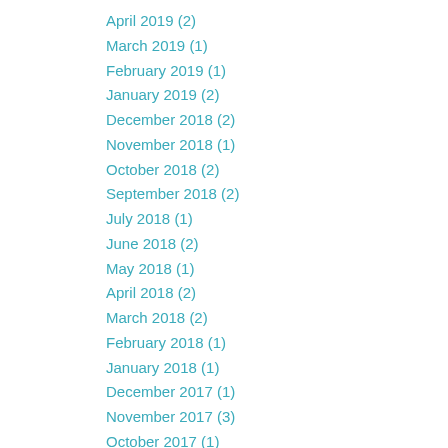April 2019 (2)
March 2019 (1)
February 2019 (1)
January 2019 (2)
December 2018 (2)
November 2018 (1)
October 2018 (2)
September 2018 (2)
July 2018 (1)
June 2018 (2)
May 2018 (1)
April 2018 (2)
March 2018 (2)
February 2018 (1)
January 2018 (1)
December 2017 (1)
November 2017 (3)
October 2017 (1)
September 2017 (1)
August 2017 (1)